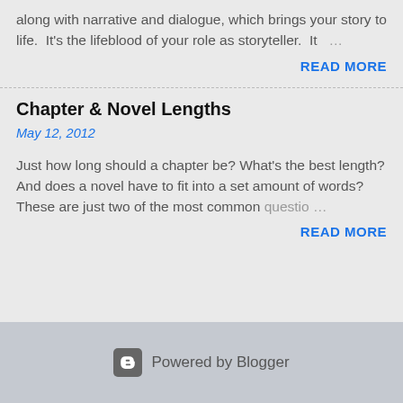along with narrative and dialogue, which brings your story to life.  It's the lifeblood of your role as storyteller.  It …
READ MORE
Chapter & Novel Lengths
May 12, 2012
Just how long should a chapter be? What's the best length? And does a novel have to fit into a set amount of words? These are just two of the most common questio …
READ MORE
Powered by Blogger